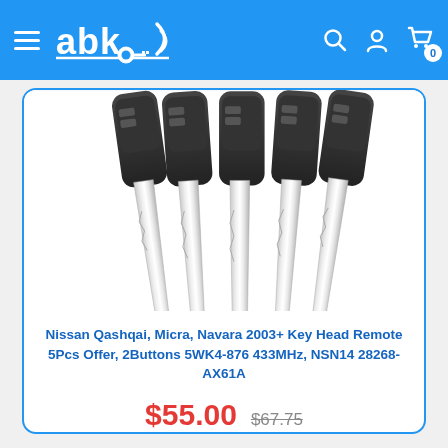abk (logo with wireless/key icon) — navigation bar with hamburger menu, search, account, and cart (0) icons
[Figure (photo): Five Nissan key head remotes fanned out showing silver uncut blades against a white background, with black key fob heads visible at top]
Nissan Qashqai, Micra, Navara 2003+ Key Head Remote 5Pcs Offer, 2Buttons 5WK4-876 433MHz, NSN14 28268-AX61A
$55.00  $67.75